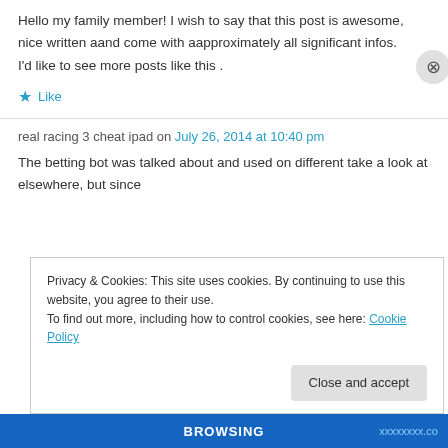Hello my family member! I wish to say that this post is awesome, nice written aand come with aapproximately all significant infos. I'd like to see more posts like this .
★ Like
real racing 3 cheat ipad on July 26, 2014 at 10:40 pm
The betting bot was talked about and used on different take a look at elsewhere, but since
Privacy & Cookies: This site uses cookies. By continuing to use this website, you agree to their use.
To find out more, including how to control cookies, see here: Cookie Policy
Close and accept